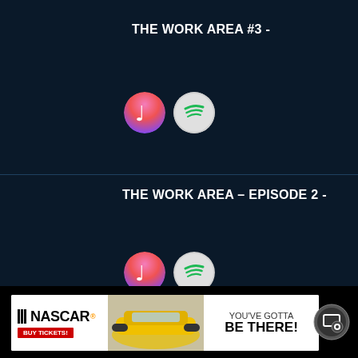THE WORK AREA #3 -
[Figure (logo): Apple Music and Spotify circular icons]
THE WORK AREA – EPISODE 2 -
[Figure (logo): Apple Music and Spotify circular icons]
[Figure (infographic): NASCAR advertisement banner: NASCAR BUY TICKETS! YOU'VE GOTTA BE THERE!]